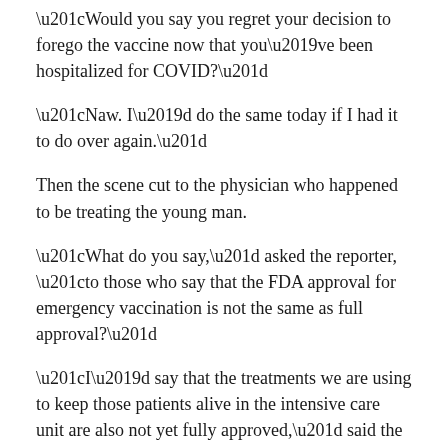“Would you say you regret your decision to forego the vaccine now that you’ve been hospitalized for COVID?”
“Naw. I’d do the same today if I had it to do over again.”
Then the scene cut to the physician who happened to be treating the young man.
“What do you say,” asked the reporter, “to those who say that the FDA approval for emergency vaccination is not the same as full approval?”
“I’d say that the treatments we are using to keep those patients alive in the intensive care unit are also not yet fully approved,” said the doctor.
Touché.